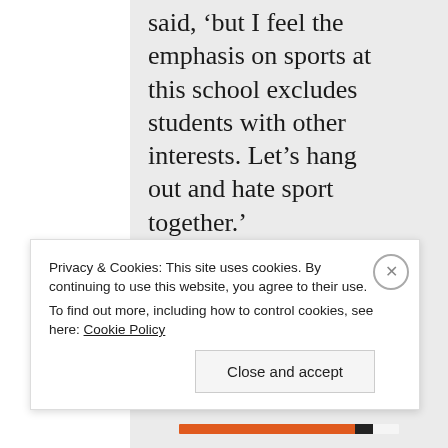said, 'but I feel the emphasis on sports at this school excludes students with other interests. Let's hang out and hate sport together.'
Though, looking back these days, I think Mary-Lou and Sally would be better to have as friends. So, I guess
Privacy & Cookies: This site uses cookies. By continuing to use this website, you agree to their use.
To find out more, including how to control cookies, see here: Cookie Policy